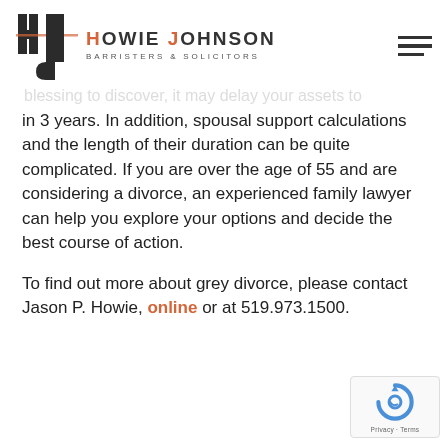Howie Johnson Barristers & Solicitors
in 3 years. In addition, spousal support calculations and the length of their duration can be quite complicated. If you are over the age of 55 and are considering a divorce, an experienced family lawyer can help you explore your options and decide the best course of action.
To find out more about grey divorce, please contact Jason P. Howie, online or at 519.973.1500.